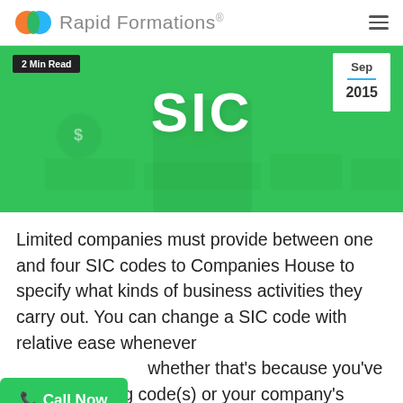Rapid Formations®
[Figure (illustration): Green hero banner image with '2 Min Read' badge top left, 'SIC' text centered in white bold, and a date box showing 'Sep 2015' top right. Background shows a person and green grid overlays.]
Limited companies must provide between one and four SIC codes to Companies House to specify what kinds of business activities they carry out. You can change a SIC code with relative ease whenever whether that's because you've ong code(s) or your company's